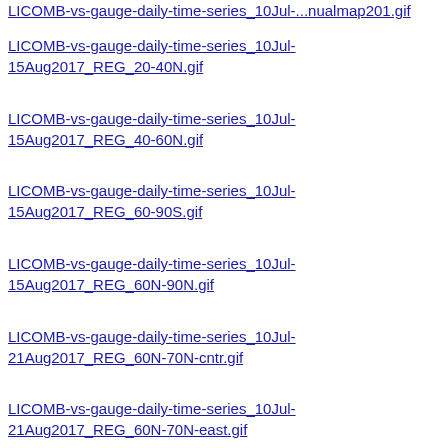LICOMB-vs-gauge-daily-time-series_10Jul-15Aug2017_REG_20-40N.gif
LICOMB-vs-gauge-daily-time-series_10Jul-15Aug2017_REG_40-60N.gif
LICOMB-vs-gauge-daily-time-series_10Jul-15Aug2017_REG_60-90S.gif
LICOMB-vs-gauge-daily-time-series_10Jul-15Aug2017_REG_60N-90N.gif
LICOMB-vs-gauge-daily-time-series_10Jul-21Aug2017_REG_60N-70N-cntr.gif
LICOMB-vs-gauge-daily-time-series_10Jul-21Aug2017_REG_60N-70N-east.gif
LICOMB-vs-gauge-daily-time-series_10Jul-21Aug2017_REG_60N-70N-west.gif
LICOMB-vs-gauge-daily-time-series_10Jul-...